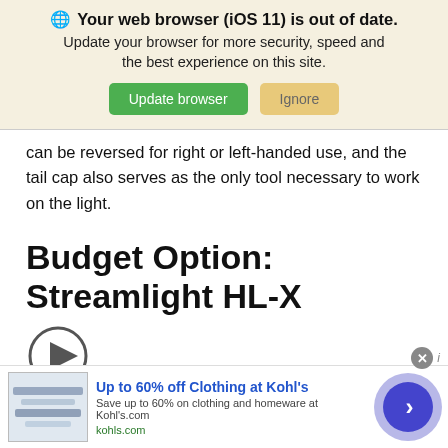[Figure (screenshot): Browser update notification banner with globe icon, bold text 'Your web browser (iOS 11) is out of date.', subtitle 'Update your browser for more security, speed and the best experience on this site.', and two buttons: green 'Update browser' and tan 'Ignore']
can be reversed for right or left-handed use, and the tail cap also serves as the only tool necessary to work on the light.
Budget Option: Streamlight HL-X
[Figure (other): Video play button circle with triangle arrow inside]
[Figure (screenshot): Advertisement banner: 'Up to 60% off Clothing at Kohl's' with product image, subtitle 'Save up to 60% on clothing and homeware at Kohl's.com', domain 'kohls.com', close button X, and blue circular arrow button on right]